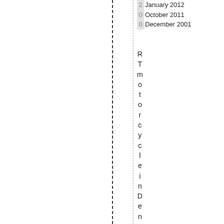2January 2012
0October 2011
0December 2001
RT motorcycle in Denver. It only h